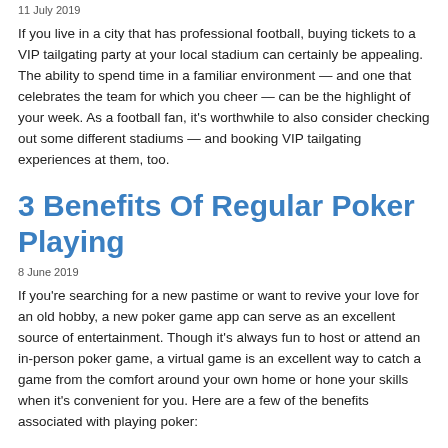11 July 2019
If you live in a city that has professional football, buying tickets to a VIP tailgating party at your local stadium can certainly be appealing. The ability to spend time in a familiar environment — and one that celebrates the team for which you cheer — can be the highlight of your week. As a football fan, it's worthwhile to also consider checking out some different stadiums — and booking VIP tailgating experiences at them, too.
3 Benefits Of Regular Poker Playing
8 June 2019
If you're searching for a new pastime or want to revive your love for an old hobby, a new poker game app can serve as an excellent source of entertainment. Though it's always fun to host or attend an in-person poker game, a virtual game is an excellent way to catch a game from the comfort around your own home or hone your skills when it's convenient for you. Here are a few of the benefits associated with playing poker: